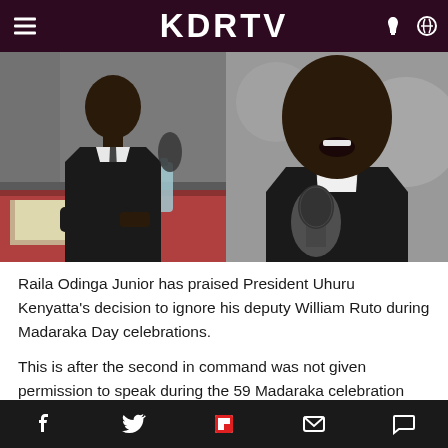KDRTV
[Figure (photo): Two photos side by side: left photo shows a man in a dark suit seated at a table with papers and a water bottle, right photo shows a man in a dark suit speaking into a microphone with mouth open]
Raila Odinga Junior has praised President Uhuru Kenyatta's decision to ignore his deputy William Ruto during Madaraka Day celebrations.
This is after the second in command was not given permission to speak during the 59 Madaraka celebration held at the Uhuru Gardens Monument and museum.
The move has elicited various emotions across the
Facebook Twitter Flipboard Email Comment